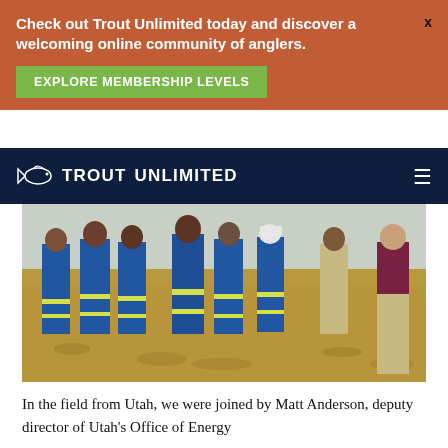Check out Trout Unlimited today and discover a welcoming online community of anglers.
EXPLORE MEMBERSHIP LEVELS
[Figure (logo): Trout Unlimited logo in white on dark navy navbar with hamburger menu icon]
[Figure (photo): Group of people in blue high-visibility coveralls and two people in khaki/casual clothing standing in a dry grassy field, viewed from the front and side]
In the field from Utah, we were joined by Matt Anderson, deputy director of Utah's Office of Energy